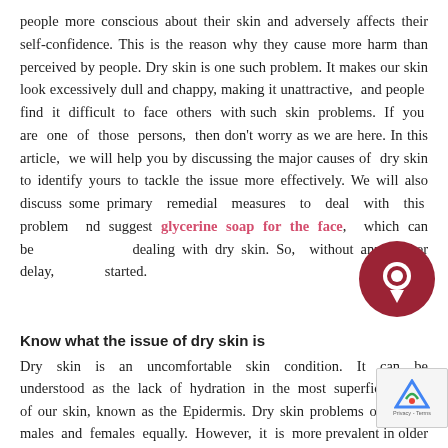people more conscious about their skin and adversely affects their self-confidence. This is the reason why they cause more harm than perceived by people. Dry skin is one such problem. It makes our skin look excessively dull and chappy, making it unattractive, and people find it difficult to face others with such skin problems. If you are one of those persons, then don't worry as we are here. In this article, we will help you by discussing the major causes of dry skin to identify yours to tackle the issue more effectively. We will also discuss some primary remedial measures to deal with this problem and suggest glycerine soap for the face, which can be dealing with dry skin. So, without any further delay, started.
Know what the issue of dry skin is
Dry skin is an uncomfortable skin condition. It can be understood as the lack of hydration in the most superficial layer of our skin, known as the Epidermis. Dry skin problems occur to males and females equally. However, it is more prevalent in older people. This is because older people to lose the natural skin oils from their skin, which c dryness to their skin. Some of the significant symptoms of dry